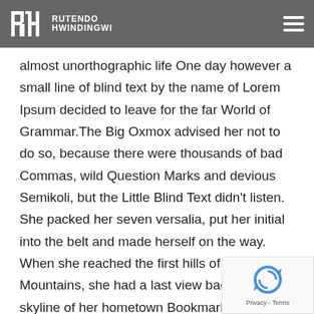RUTENDO HWINDINGWI
sentences fly into your mouth. Even the all-powerful no control about the blind texts it is an almost unorthographic life One day however a small line of blind text by the name of Lorem Ipsum decided to leave for the far World of Grammar.The Big Oxmox advised her not to do so, because there were thousands of bad Commas, wild Question Marks and devious Semikoli, but the Little Blind Text didn't listen. She packed her seven versalia, put her initial into the belt and made herself on the way. When she reached the first hills of the Italic Mountains, she had a last view back on the skyline of her hometown Bookmarksgrove, the headline of Alphabet Village and the subline of her own road, the Line Lane. Pityful a rethoric question ran over her cheek, then
The Big Oxmox advised her not to do so, because there were thousands of bad Commas, wild Question Marks and